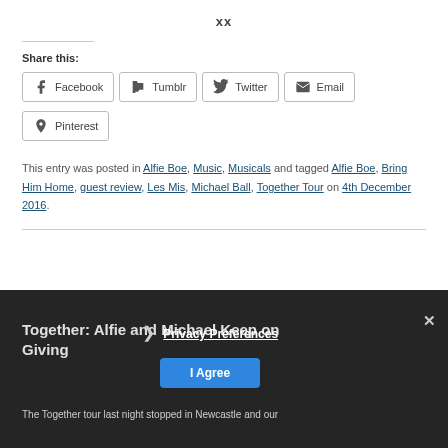xx
Share this:
Facebook  Tumblr  Twitter  Email  Pinterest
This entry was posted in Alfie Boe, Music, Musicals and tagged Alfie Boe, Bring Him Home, guest review, Les Mis, Michael Ball, Together Tour on 4th December 2016.
Together: Alfie and Michael Keep on Giving
Privacy Preferences
I Agree
The Together tour last night stopped in Newcastle and our